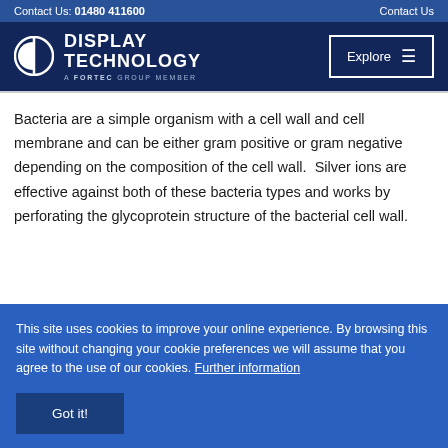Contact Us: 01480 411600    Contact Us
[Figure (logo): Display Technology logo — circular icon with DP letters plus 'DISPLAY TECHNOLOGY A FORTEC GROUP MEMBER' text, with Explore menu button]
Bacteria are a simple organism with a cell wall and cell membrane and can be either gram positive or gram negative depending on the composition of the cell wall.  Silver ions are effective against both of these bacteria types and works by perforating the glycoprotein structure of the bacterial cell wall.
This site uses cookies to improve your online experience. By browsing this site without changing your cookie preferences we will assume that you agree to the use of our cookies. Further information
Got it!